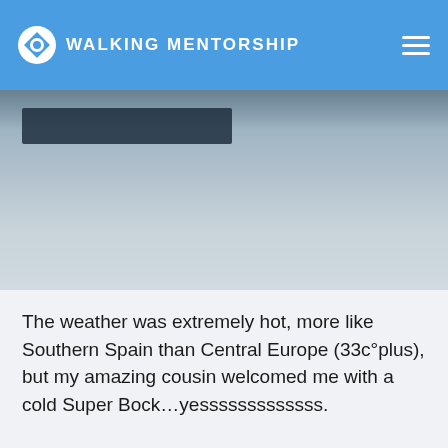WALKING MENTORSHIP
[Figure (photo): A close-up photo of a dark horizontal bar or beam against a light blue-grey textured surface, likely a wall or outdoor ground.]
The weather was extremely hot, more like Southern Spain than Central Europe (33c°plus), but my amazing cousin welcomed me with a cold Super Bock…yesssssssssssss.